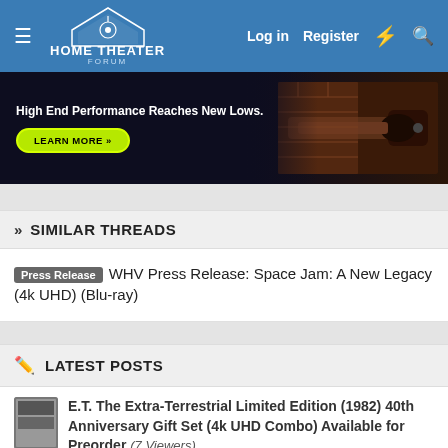Home Theater Forum — Log in | Register
[Figure (screenshot): Advertisement banner: High End Performance Reaches New Lows. LEARN MORE >>]
» SIMILAR THREADS
Press Release  WHV Press Release: Space Jam: A New Legacy (4k UHD) (Blu-ray)
✏ LATEST POSTS
E.T. The Extra-Terrestrial Limited Edition (1982) 40th Anniversary Gift Set (4k UHD Combo) Available for Preorder (7 Viewers)  Ethan Riley · 9 minutes ago
National Cinema Day September 3, 2022 All Movies All Formats $3.00